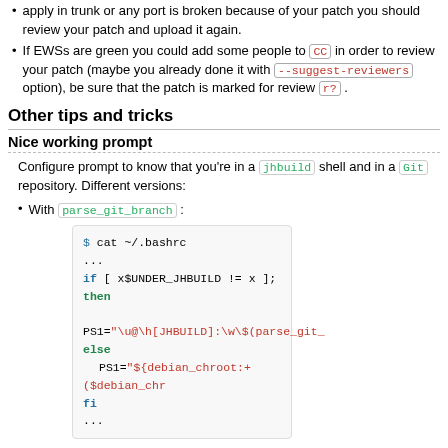apply in trunk or any port is broken because of your patch you should review your patch and upload it again.
If EWSs are green you could add some people to CC in order to review your patch (maybe you already done it with --suggest-reviewers option), be sure that the patch is marked for review r? .
Other tips and tricks
Nice working prompt
Configure prompt to know that you're in a jhbuild shell and in a Git repository. Different versions:
With parse_git_branch :
[Figure (screenshot): Code block showing bash script with jhbuild PS1 configuration using parse_git_branch]
Without parse_git_branch :
[Figure (screenshot): Code block showing $ cat ~/.bashrc]